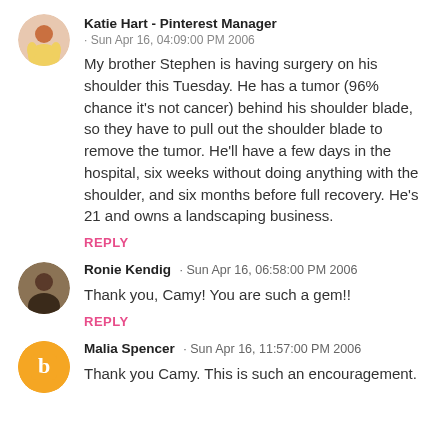Katie Hart - Pinterest Manager · Sun Apr 16, 04:09:00 PM 2006
My brother Stephen is having surgery on his shoulder this Tuesday. He has a tumor (96% chance it's not cancer) behind his shoulder blade, so they have to pull out the shoulder blade to remove the tumor. He'll have a few days in the hospital, six weeks without doing anything with the shoulder, and six months before full recovery. He's 21 and owns a landscaping business.
REPLY
Ronie Kendig · Sun Apr 16, 06:58:00 PM 2006
Thank you, Camy! You are such a gem!!
REPLY
Malia Spencer · Sun Apr 16, 11:57:00 PM 2006
Thank you Camy. This is such an encouragement.